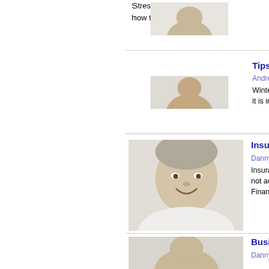Stress testing in an integra... how to use this critical app...
[Figure (photo): Partial view of a person's head at top of image (cropped)]
Tips for protecting your [business/home]
Andrew Jackson, Director, One In...
Winter is coming with poss... it is important for business...
[Figure (photo): Portrait photo of Danny Cooper, MD, a middle-aged man with grey hair, smiling, wearing a white shirt]
Insurance policy errors -
Danny Cooper, MD, The Insura...
Insurance companies are i... not accept any blame - the... Financial Directors
[Figure (photo): Partial portrait photo of a person (cropped at bottom of page)]
Business liability - critica...
Danny Cooper, MD, The Insura...
Employee Liability and Pu... important than ever that bu... investigation and notificatio...
Business security
Dr Steffan George, Director, Mas...
Business security is vital, m...